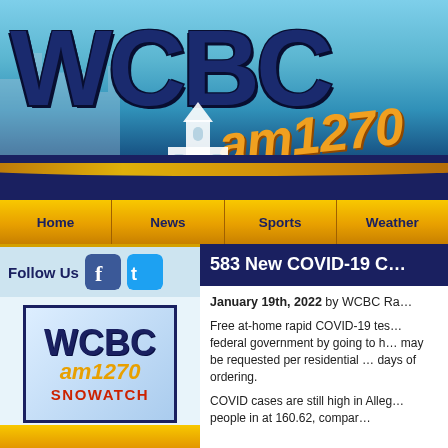[Figure (logo): WCBC AM 1270 radio station header banner with church silhouette and city skyline background]
Home | News | Sports | Weather
Follow Us
[Figure (logo): WCBC AM 1270 Snowatch logo in a bordered box]
583 New COVID-19 C...
January 19th, 2022 by WCBC Ra...
Free at-home rapid COVID-19 tes... federal government by going to h... may be requested per residential ... days of ordering.
COVID cases are still high in Alleg... people in at 160.62, compar...